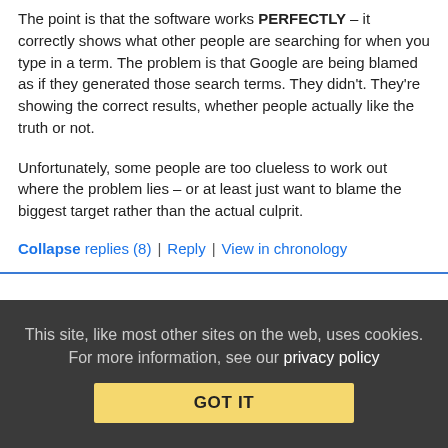The point is that the software works PERFECTLY – it correctly shows what other people are searching for when you type in a term. The problem is that Google are being blamed as if they generated those search terms. They didn't. They're showing the correct results, whether people actually like the truth or not.
Unfortunately, some people are too clueless to work out where the problem lies – or at least just want to blame the biggest target rather than the actual culprit.
Collapse replies (8) | Reply | View in chronology
[Figure (infographic): Row of five comment/reaction icons: lightbulb, laughing emoji, open-quote speech bubble, close-quote speech bubble, flag]
This site, like most other sites on the web, uses cookies. For more information, see our privacy policy
GOT IT